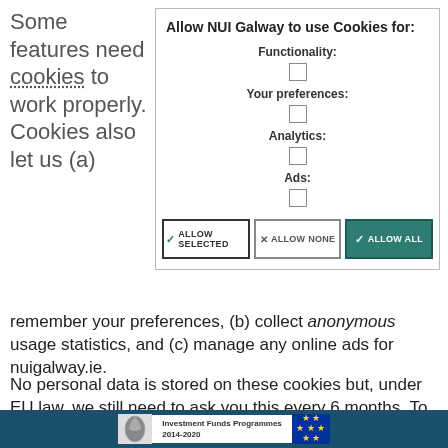Some features need cookies to work properly. Cookies also let us (a)
[Figure (screenshot): Cookie consent dialog box for NUI Galway with title 'Allow NUI Galway to use Cookies for:', sections for Functionality, Your preferences, Analytics, and Ads each with a checkbox, and three buttons: ALLOW SELECTED, ALLOW NONE, ALLOW ALL]
remember your preferences, (b) collect anonymous usage statistics, and (c) manage any online ads for nuigalway.ie.
No personal data is stored on these cookies but, under EU law, we still need to ask you this every 6 months. To learn more about our use of cookies, view our Privacy Policy.
[Figure (logo): Footer bar with Investment Funds Programmes 2014-2020 logo and EU stars flag on dark blue background]